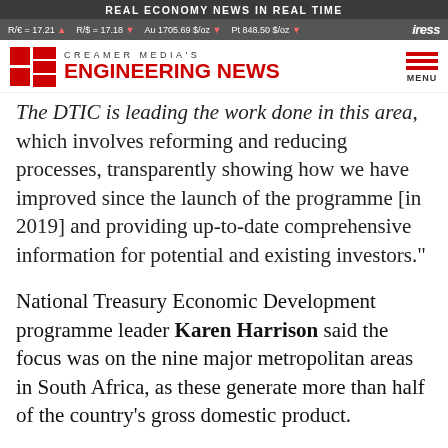REAL ECONOMY NEWS IN REAL TIME
R/€ = 17.21 ▲  R/$ = 17.18 ▼  Au 1705.69 $/oz ▼  Pt 848.50 $/oz ▼  iress
[Figure (logo): Creamer Media's Engineering News logo with red EN block icon and red bold text]
The DTIC is leading the work done in this area, which involves reforming and reducing processes, transparently showing how we have improved since the launch of the programme [in 2019] and providing up-to-date comprehensive information for potential and existing investors."
National Treasury Economic Development programme leader Karen Harrison said the focus was on the nine major metropolitan areas in South Africa, as these generate more than half of the country's gross domestic product.